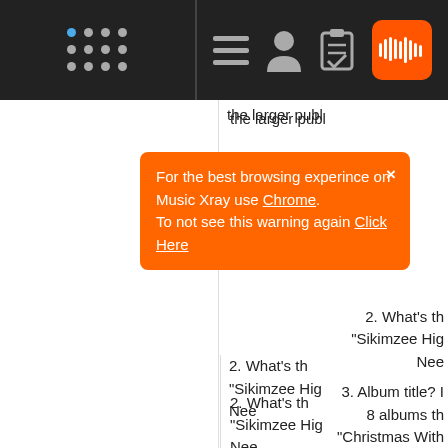Music Xray navigation bar with logo, hamburger menu, user icon, clipboard icon, SoundCloud icon
the larger publ... a...
For the best browsing experince on Music Xray use Chrome. To not see this warning again Click Here
2. What's th... "Sikimzee Hig... Nee...
3. Album title? I... 8 albums th... "Christmas With... 7.
4. Significanc... recorded a few p... artist do I wa...